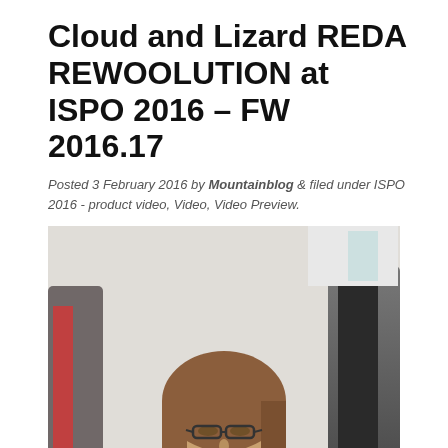Cloud and Lizard REDA REWOOLUTION at ISPO 2016 – FW 2016.17
Posted 3 February 2016 by Mountainblog & filed under ISPO 2016 - product video, Video, Video Preview.
[Figure (photo): Woman with glasses and brown hair sitting in front of outdoor clothing display at ISPO 2016 trade show]
ISPO 2016, Lauretta Grivelli (Product Manager) presents Cloud and Lizard by Reda Rewoolution.
YKK's Two International Item Launched here at ISPO...